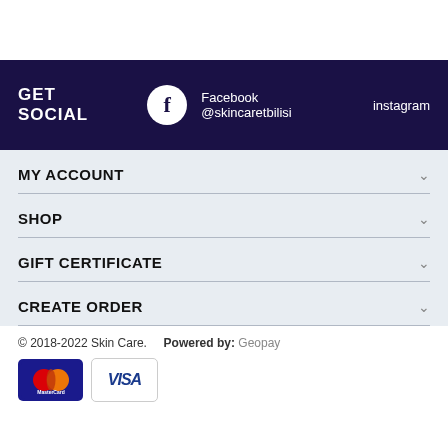GET SOCIAL  Facebook @skincaretbilisi  instagram
MY ACCOUNT
SHOP
GIFT CERTIFICATE
CREATE ORDER
© 2018-2022 Skin Care.  Powered by: Geopay
[Figure (logo): MasterCard and VISA payment card logos]